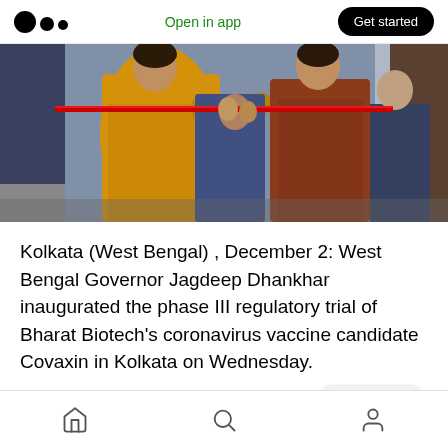Open in app | Get started
[Figure (photo): People cutting a red ribbon at an inauguration ceremony. A woman in a yellow sari and a woman in a brown/rust sari are cutting the ribbon alongside others in formal attire.]
Kolkata (West Bengal) , December 2: West Bengal Governor Jagdeep Dhankhar inaugurated the phase III regulatory trial of Bharat Biotech's coronavirus vaccine candidate Covaxin in Kolkata on Wednesday.